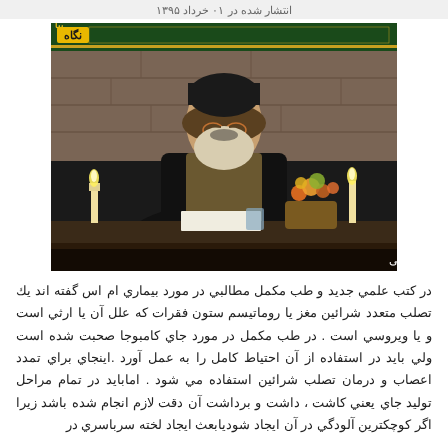انتشار شده در ۰۱ خرداد ۱۳۹۵
[Figure (photo): A cleric/religious scholar wearing black turban and robes sitting at a table with candles and flowers. TV channel logo 'نگاه' visible in top left corner. Bottom overlay caption reads: درمان ام اس در طب سنتی]
در کتب علمي جديد و طب مکمل مطالبي در مورد بيماري ام اس گفته اند يك تصلب متعدد شرائين مغز يا روماتيسم ستون فقرات كه علل آن يا ارثي است و يا ويروسي است . در طب مکمل در مورد جاي کامبوجا صحبت شده است ولي بايد در استفاده از آن احتياط کامل را به عمل آورد .اينجاي براي تمدد اعصاب و درمان تصلب شرائين استفاده مي شود . اماباید در تمام مراحل توليد جاي يعني کاشت ، داشت و برداشت آن دقت لازم انجام شده باشد زيرا اگر کوچكترين آلودگي در آن ايجاد شوديابعث ايجاد لخته سرباسري در